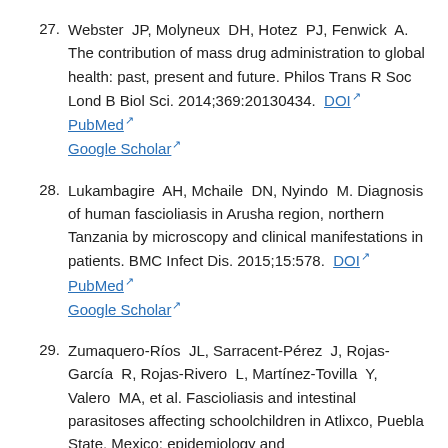27. Webster JP, Molyneux DH, Hotez PJ, Fenwick A. The contribution of mass drug administration to global health: past, present and future. Philos Trans R Soc Lond B Biol Sci. 2014;369:20130434. DOI PubMed Google Scholar
28. Lukambagire AH, Mchaile DN, Nyindo M. Diagnosis of human fascioliasis in Arusha region, northern Tanzania by microscopy and clinical manifestations in patients. BMC Infect Dis. 2015;15:578. DOI PubMed Google Scholar
29. Zumaquero-Ríos JL, Sarracent-Pérez J, Rojas-García R, Rojas-Rivero L, Martínez-Tovilla Y, Valero MA, et al. Fascioliasis and intestinal parasitoses affecting schoolchildren in Atlixco, Puebla State, Mexico: epidemiology and